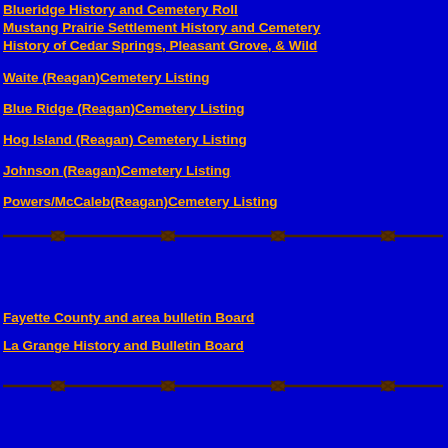Blueridge History and Cemetery Roll
Mustang Prairie Settlement History and Cemetery
History of Cedar Springs, Pleasant Grove, & Wild
Waite (Reagan)Cemetery Listing
Blue Ridge (Reagan)Cemetery Listing
Hog Island (Reagan) Cemetery Listing
Johnson (Reagan)Cemetery Listing
Powers/McCaleb(Reagan)Cemetery Listing
[Figure (illustration): Barbed wire divider graphic, horizontal]
Fayette County and area bulletin Board
La Grange History and Bulletin Board
[Figure (illustration): Barbed wire divider graphic, horizontal]